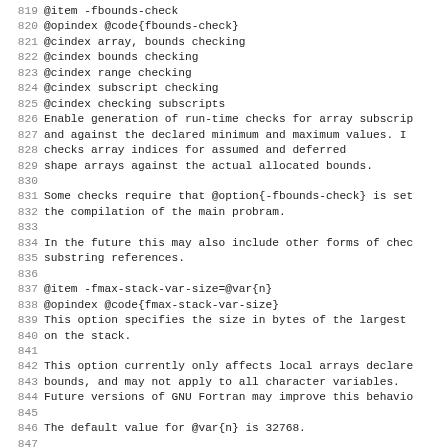819 @item -fbounds-check
820 @opindex @code{fbounds-check}
821 @cindex array, bounds checking
822 @cindex bounds checking
823 @cindex range checking
824 @cindex subscript checking
825 @cindex checking subscripts
826 Enable generation of run-time checks for array subscrip
827 and against the declared minimum and maximum values.  I
828 checks array indices for assumed and deferred
829 shape arrays against the actual allocated bounds.
830 
831 Some checks require that @option{-fbounds-check} is set
832 the compilation of the main probram.
833 
834 In the future this may also include other forms of chec
835 substring references.
836 
837 @item -fmax-stack-var-size=@var{n}
838 @opindex @code{fmax-stack-var-size}
839 This option specifies the size in bytes of the largest
840 on the stack.
841 
842 This option currently only affects local arrays declare
843 bounds, and may not apply to all character variables.
844 Future versions of GNU Fortran may improve this behavio
845 
846 The default value for @var{n} is 32768.
847 
848 @item -fpack-derived
849 @opindex @code{fpack-derived}
850 @cindex structure packing